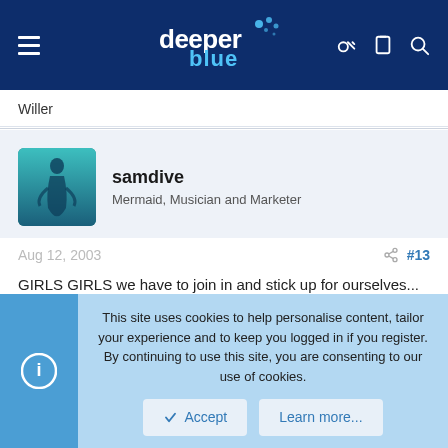[Figure (logo): DeeperBlue website header with logo, hamburger menu, and icons]
Willer
[Figure (photo): User avatar showing a diver silhouette underwater with teal/blue tones]
samdive
Mermaid, Musician and Marketer
Aug 12, 2003
#13
GIRLS GIRLS we have to join in and stick up for ourselves...
personally I never quite got over being picked up from a black out by
This site uses cookies to help personalise content, tailor your experience and to keep you logged in if you register.
By continuing to use this site, you are consenting to our use of cookies.
Accept
Learn more...